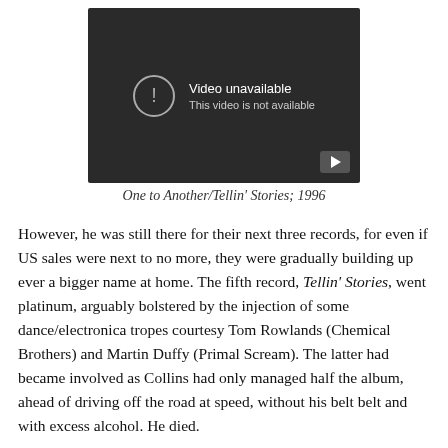[Figure (screenshot): A video player showing 'Video unavailable - This video is not available' error screen with a dark background, exclamation mark icon, and a play button in the bottom right corner.]
One to Another/Tellin' Stories; 1996
However, he was still there for their next three records, for even if US sales were next to no more, they were gradually building up ever a bigger name at home. The fifth record, Tellin' Stories, went platinum, arguably bolstered by the injection of some dance/electronica tropes courtesy Tom Rowlands (Chemical Brothers) and Martin Duffy (Primal Scream). The latter had became involved as Collins had only managed half the album, ahead of driving off the road at speed, without his belt belt and with excess alcohol. He died.